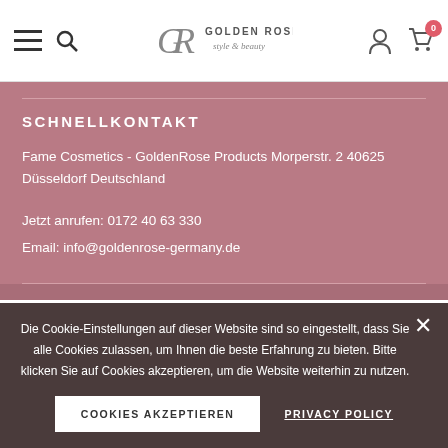Golden Rose style & beauty — navigation header with hamburger menu, search, logo, user icon, cart (0)
SCHNELLKONTAKT
Fame Cosmetics - GoldenRose Products Morperstr. 2 40625 Düsseldorf Deutschland
Jetzt anrufen: 0172 40 63 330
Email: info@goldenrose-germany.de
Die Cookie-Einstellungen auf dieser Website sind so eingestellt, dass Sie alle Cookies zulassen, um Ihnen die beste Erfahrung zu bieten. Bitte klicken Sie auf Cookies akzeptieren, um die Website weiterhin zu nutzen.
COOKIES AKZEPTIEREN
PRIVACY POLICY